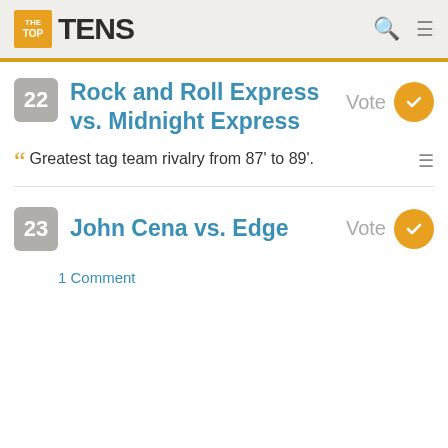THE TOP TENS
22 Rock and Roll Express vs. Midnight Express Vote
Greatest tag team rivalry from 87' to 89'.
23 John Cena vs. Edge Vote
1 Comment